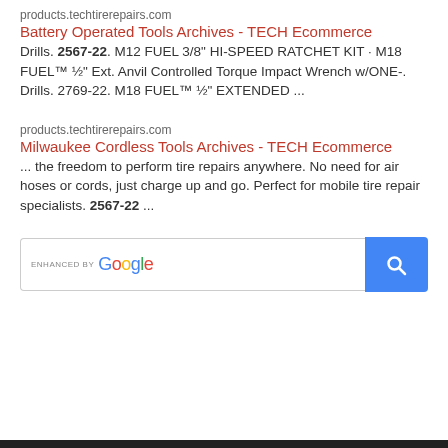products.techtirerepairs.com
Battery Operated Tools Archives - TECH Ecommerce
Drills. 2567-22. M12 FUEL 3/8" HI-SPEED RATCHET KIT · M18 FUEL™ ½" Ext. Anvil Controlled Torque Impact Wrench w/ONE-. Drills. 2769-22. M18 FUEL™ ½" EXTENDED ...
products.techtirerepairs.com
Milwaukee Cordless Tools Archives - TECH Ecommerce
... the freedom to perform tire repairs anywhere. No need for air hoses or cords, just charge up and go. Perfect for mobile tire repair specialists. 2567-22 ...
[Figure (screenshot): Google search bar with 'ENHANCED BY Google' label and a blue search button with magnifying glass icon]